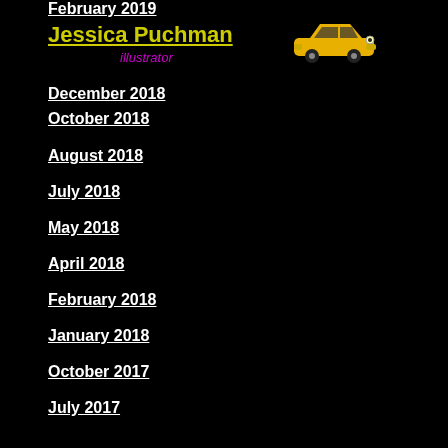February 2019
Jessica Puchman
illustrator
[Figure (illustration): Yellow cartoon car icon facing right]
December 2018
October 2018
August 2018
July 2018
May 2018
April 2018
February 2018
January 2018
October 2017
July 2017
May 2017
March 2017
February 2017
December 2016
November 2016
September 2016
August 2016